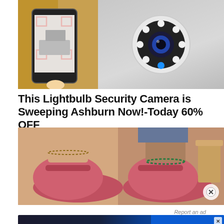[Figure (photo): Advertisement image showing a phone with security camera feed on left side and a white dome security camera on right side]
This Lightbulb Security Camera is Sweeping Ashburn Now!-Today 60% OFF
Keilini
[Figure (photo): Advertisement image showing feet wearing pink/rose sandals with anklet jewelry]
Report an ad
[Figure (infographic): Disney Bundle advertisement banner showing Hulu, Disney+, ESPN+ logos with GET THE DISNEY BUNDLE call to action. Fine print: Incl. Hulu (ad-supported) or Hulu (No Ads). Access content from each service separately. ©2021 Disney and its related entities]